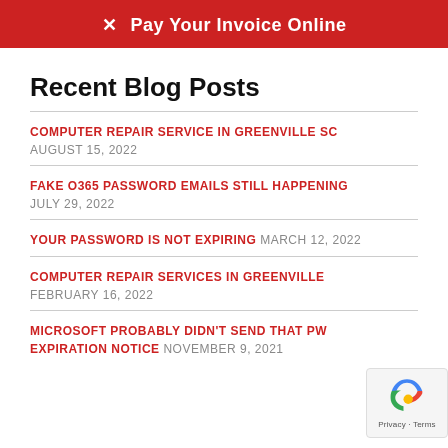[Figure (other): Red banner button with white X and text: Pay Your Invoice Online]
Recent Blog Posts
COMPUTER REPAIR SERVICE IN GREENVILLE SC — AUGUST 15, 2022
FAKE O365 PASSWORD EMAILS STILL HAPPENING — JULY 29, 2022
YOUR PASSWORD IS NOT EXPIRING — MARCH 12, 2022
COMPUTER REPAIR SERVICES IN GREENVILLE — FEBRUARY 16, 2022
MICROSOFT PROBABLY DIDN'T SEND THAT PW EXPIRATION NOTICE — NOVEMBER 9, 2021